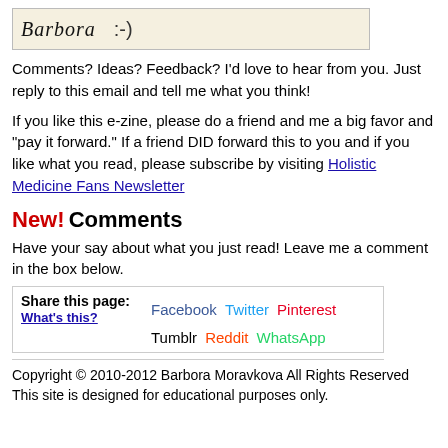[Figure (illustration): Handwritten signature 'Barbora' with a smiley face on a cream/beige background]
Comments? Ideas? Feedback? I'd love to hear from you. Just reply to this email and tell me what you think!
If you like this e-zine, please do a friend and me a big favor and "pay it forward." If a friend DID forward this to you and if you like what you read, please subscribe by visiting Holistic Medicine Fans Newsletter
New! Comments
Have your say about what you just read! Leave me a comment in the box below.
| Share this page: | Facebook | Twitter | Pinterest | Tumblr | Reddit | WhatsApp |
| --- | --- | --- | --- | --- | --- | --- |
| What's this? |  |  |  |  |  |  |
Copyright © 2010-2012 Barbora Moravkova All Rights Reserved
This site is designed for educational purposes only.